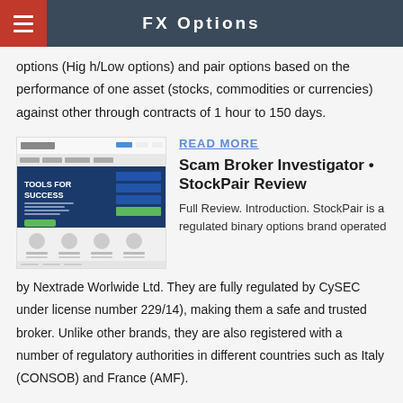FX Options
options (High/Low options) and pair options based on the performance of one asset (stocks, commodities or currencies) against other through contracts of 1 hour to 150 days.
[Figure (screenshot): Screenshot of StockPair website showing 'TOOLS FOR SUCCESS' header with navigation menu and features section]
READ MORE
Scam Broker Investigator • StockPair Review
Full Review. Introduction. StockPair is a regulated binary options brand operated by Nextrade Worlwide Ltd. They are fully regulated by CySEC under license number 229/14), making them a safe and trusted broker. Unlike other brands, they are also registered with a number of regulatory authorities in different countries such as Italy (CONSOB) and France (AMF).